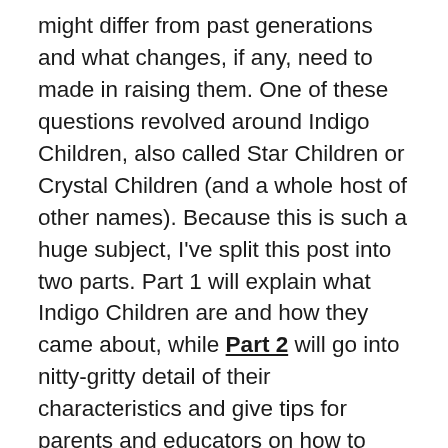might differ from past generations and what changes, if any, need to made in raising them. One of these questions revolved around Indigo Children, also called Star Children or Crystal Children (and a whole host of other names). Because this is such a huge subject, I've split this post into two parts. Part 1 will explain what Indigo Children are and how they came about, while Part 2 will go into nitty-gritty detail of their characteristics and give tips for parents and educators on how to approach these individuals. Now, I'm happy to tell you what I've come to know (try and stop me), but because we're talking about people's children here, and they tend to take that subject VERY seriously (go figure), I feel I must offer a disclaimer.